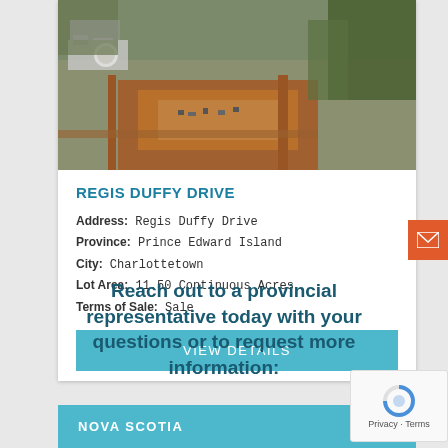[Figure (photo): Aerial view of an industrial/construction site with roads, buildings, and cleared land surrounded by trees]
REGIS DUFFY DRIVE
Address: Regis Duffy Drive
Province: Prince Edward Island
City: Charlottetown
Lot Area: 11.50 Continuous Acres
Terms of Sale: Sale
VIEW DETAILS
Reach out to a provincial representative today with your questions or to request more information:
NOVA SCOTIA